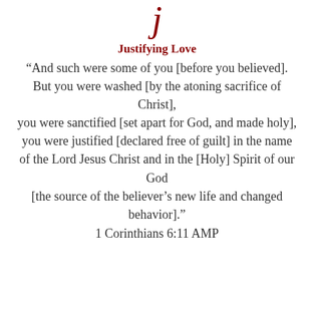[Figure (illustration): Decorative italic letter J in dark red/crimson serif font at top of page]
Justifying Love
“And such were some of you [before you believed]. But you were washed [by the atoning sacrifice of Christ], you were sanctified [set apart for God, and made holy], you were justified [declared free of guilt] in the name of the Lord Jesus Christ and in the [Holy] Spirit of our God [the source of the believer’s new life and changed behavior].”
1 Corinthians 6:11 AMP